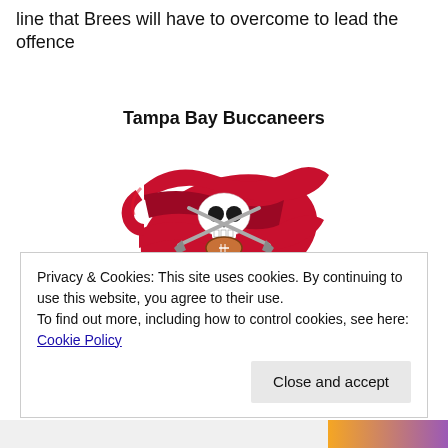line that Brees will have to overcome to lead the offence
Tampa Bay Buccaneers
[Figure (logo): Tampa Bay Buccaneers NFL team logo — a red pirate flag with skull and crossed swords holding a football]
Privacy & Cookies: This site uses cookies. By continuing to use this website, you agree to their use.
To find out more, including how to control cookies, see here: Cookie Policy
Close and accept